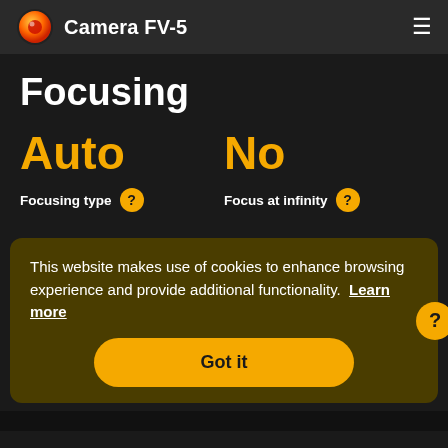Camera FV-5
Focusing
Auto
No
Focusing type ?
Focus at infinity ?
This website makes use of cookies to enhance browsing experience and provide additional functionality. Learn more
Got it